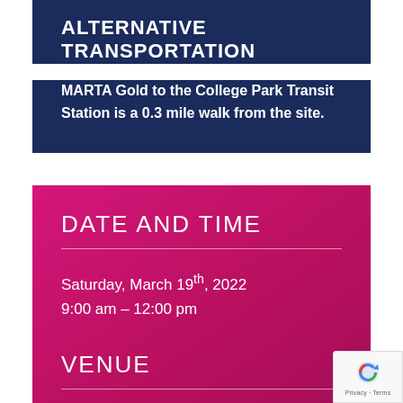ALTERNATIVE TRANSPORTATION
MARTA Gold to the College Park Transit Station is a 0.3 mile walk from the site.
DATE AND TIME
Saturday, March 19th, 2022
9:00 am – 12:00 pm
VENUE